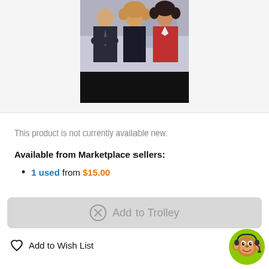[Figure (photo): Movie cover photo showing three people (two women and a man in business attire) above a black bar]
This product is not currently available new.
Available from Marketplace sellers:
1 used from $15.00
Add to Trolley
Add to Wish List
[Figure (illustration): Customer support chat widget showing a cartoon monkey with headset on green circle background]